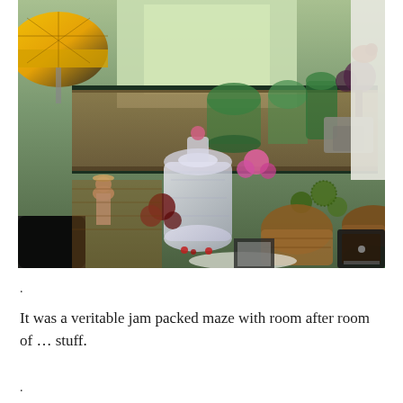[Figure (photo): A cluttered antique or gift shop interior filled with shelves of green glassware, decorative items, wicker baskets, flowers, figurines, a Tiffany-style stained glass lamp, crystal jar, and various collectibles and knick-knacks.]
.
It was a veritable jam packed maze with room after room of … stuff.
.